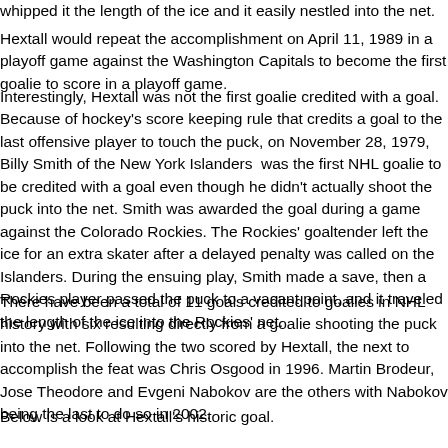whipped it the length of the ice and it easily nestled into the net.
Hextall would repeat the accomplishment on April 11, 1989 in a playoff game against the Washington Capitals to become the first goalie to score in a playoff game.
Interestingly, Hextall was not the first goalie credited with a goal.  Because of hockey's score keeping rule that credits a goal to the last offensive player to touch the puck, on November 28, 1979, Billy Smith of the New York Islanders  was the first NHL goalie to be credited with a goal even though he didn't actually shoot the puck into the net. Smith was awarded the goal during a game against the Colorado Rockies. The Rockies' goaltender left the ice for an extra skater after a delayed penalty was called on the Islanders. During the ensuing play, Smith made a save, then a Rockies player passed the puck to a vacant point, and it traveled the length of the ice into the Rockies' net.
There have been a total of 11 goals credited to goalies in NHL history with six resulting directly from a goalie shooting the puck into the net. Following the two scored by Hextall, the next to accomplish the feat was Chris Osgood in 1996. Martin Brodeur, Jose Theodore and Evgeni Nabokov are the others with Nabokov being the last to do so in 2002.
Below is a look at Hextall's historic goal.